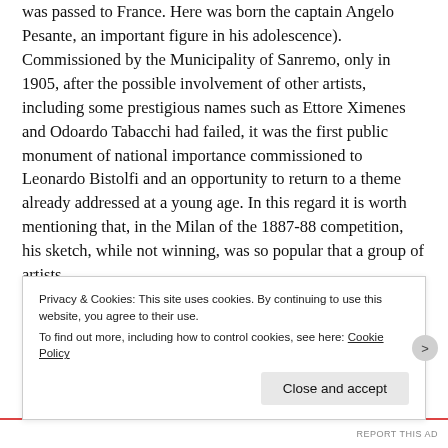was passed to France. Here was born the captain Angelo Pesante, an important figure in his adolescence).
Commissioned by the Municipality of Sanremo, only in 1905, after the possible involvement of other artists, including some prestigious names such as Ettore Ximenes and Odoardo Tabacchi had failed, it was the first public monument of national importance commissioned to Leonardo Bistolfi and an opportunity to return to a theme already addressed at a young age. In this regard it is worth mentioning that, in the Milan of the 1887-88 competition, his sketch, while not winning, was so popular that a group of artists
Privacy & Cookies: This site uses cookies. By continuing to use this website, you agree to their use.
To find out more, including how to control cookies, see here: Cookie Policy